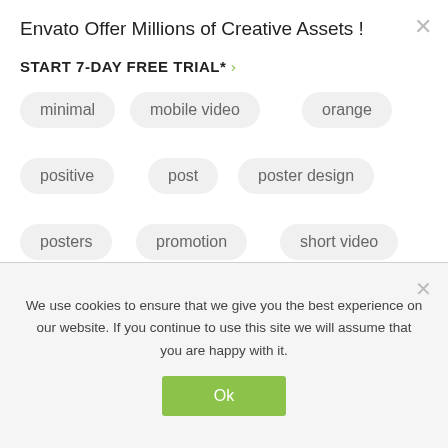Envato Offer Millions of Creative Assets !
START 7-DAY FREE TRIAL* ›
minimal
mobile video
orange
positive
post
poster design
posters
promotion
short video
text animation
titles
vlog
vlogger
youtube intro
We use cookies to ensure that we give you the best experience on our website. If you continue to use this site we will assume that you are happy with it.
Ok